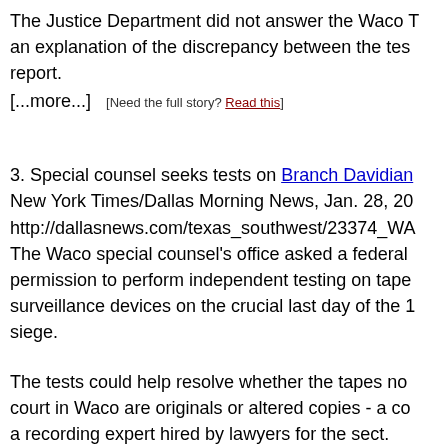The Justice Department did not answer the Waco Tribune an explanation of the discrepancy between the testimony and the report.
[...more...]   [Need the full story? Read this]
3. Special counsel seeks tests on Branch Davidian New York Times/Dallas Morning News, Jan. 28, 2000 http://dallasnews.com/texas_southwest/23374_WA The Waco special counsel's office asked a federal permission to perform independent testing on tape surveillance devices on the crucial last day of the 1 siege.
The tests could help resolve whether the tapes now court in Waco are originals or altered copies - a co a recording expert hired by lawyers for the sect.
An independent analysis also might help address t heard as the devices broadcast to an FBI comman